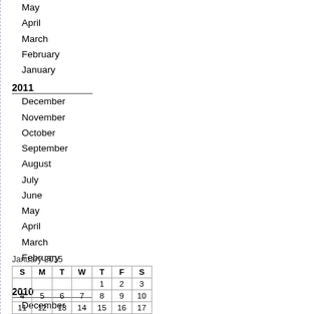May
April
March
February
January
2011
December
November
October
September
August
July
June
May
April
March
February
January
2010
December
November
October
September
January 2015
| S | M | T | W | T | F | S |
| --- | --- | --- | --- | --- | --- | --- |
|  |  |  |  | 1 | 2 | 3 |
| 4 | 5 | 6 | 7 | 8 | 9 | 10 |
| 11 | 12 | 13 | 14 | 15 | 16 | 17 |